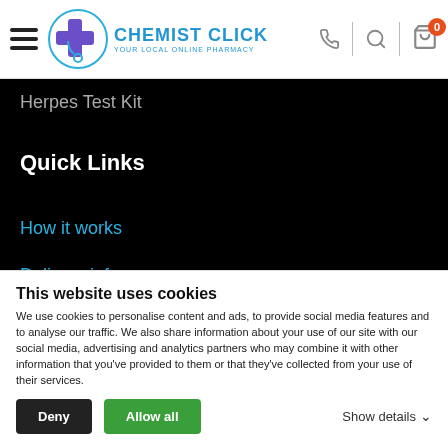Chemist Click - Your Local Online Pharmacy
Herpes Test Kit
Quick Links
How it works
Delivery info
About Us
Help & Faq
Private Prescriptions
This website uses cookies
We use cookies to personalise content and ads, to provide social media features and to analyse our traffic. We also share information about your use of our site with our social media, advertising and analytics partners who may combine it with other information that you've provided to them or that they've collected from your use of their services.
Deny | Allow all | Show details